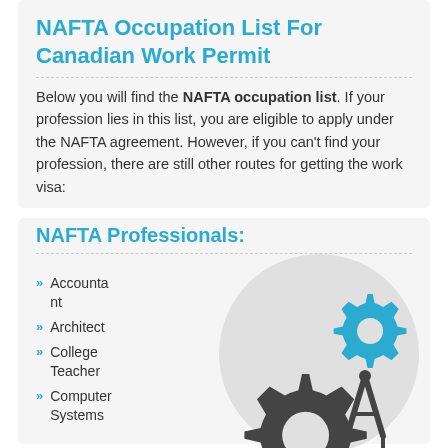NAFTA Occupation List For Canadian Work Permit
Below you will find the NAFTA occupation list. If your profession lies in this list, you are eligible to apply under the NAFTA agreement. However, if you can't find your profession, there are still other routes for getting the work visa:
NAFTA Professionals:
Accountant
Architect
College Teacher
Computer Systems
[Figure (illustration): A circular grey background with dark grey and blue gear/cog icons and a compass/drafting tool, representing professional occupations.]